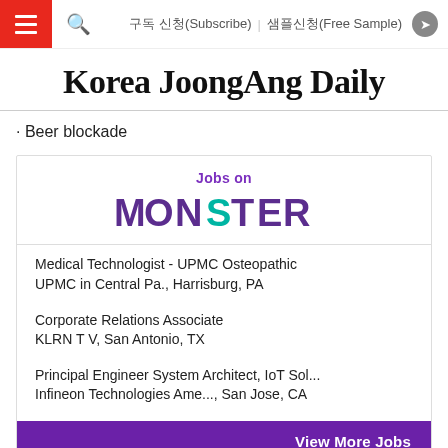구독 신청(Subscribe)  샘플신청(Free Sample)
Korea JoongAng Daily
· Beer blockade
[Figure (logo): Jobs on MONSTER logo advertisement box with job listings and View More Jobs button]
Medical Technologist - UPMC Osteopathic
UPMC in Central Pa., Harrisburg, PA
Corporate Relations Associate
KLRN T V, San Antonio, TX
Principal Engineer System Architect, IoT Sol...
Infineon Technologies Ame..., San Jose, CA
View More Jobs